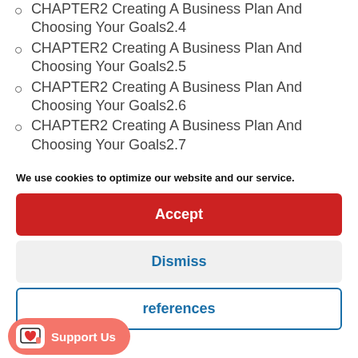CHAPTER2 Creating A Business Plan And Choosing Your Goals2.4
CHAPTER2 Creating A Business Plan And Choosing Your Goals2.5
CHAPTER2 Creating A Business Plan And Choosing Your Goals2.6
CHAPTER2 Creating A Business Plan And Choosing Your Goals2.7
We use cookies to optimize our website and our service.
Accept
Dismiss
references
Support Us